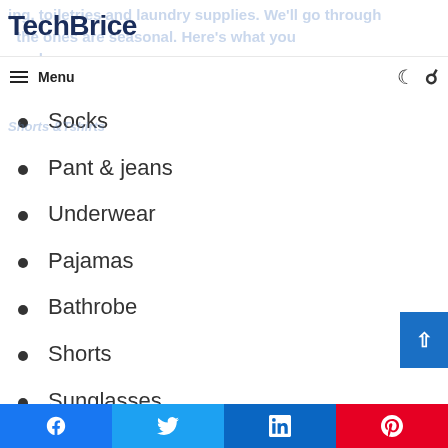TechBrice
ing, toiletries and laundry supplies. We'll go through the ones are seasonal. Here's what you need
Shorts &Tshirts
Socks
Pant & jeans
Underwear
Pajamas
Bathrobe
Shorts
Sunglasses
Hats (winter and summer)
Scarf and gloves
Loungewear
Facebook Twitter LinkedIn Pinterest